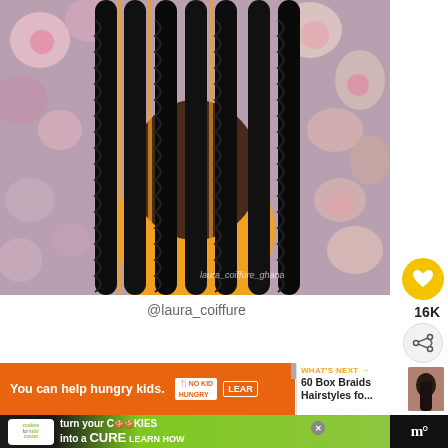[Figure (photo): Back view of a person with long box braids wearing an orange shirt, standing in front of a floral wall backdrop. Watermark text 'laura_coiffure_ghana' visible at bottom right of photo.]
@laura_coiffure
[Figure (infographic): Orange advertisement banner: 'You can help hungry kids.' with No Kid Hungry logo and LEARN MORE button. Adjacent white panel showing 'WHAT'S NEXT →' with thumbnail and text '60 Box Braids Hairstyles fo...']
[Figure (infographic): Dark background advertisement with cookies for kids' cancer logo and green banner: 'turn your COOKIES into a CURE LEARN HOW' with close button X. Right side shows MW logo.]